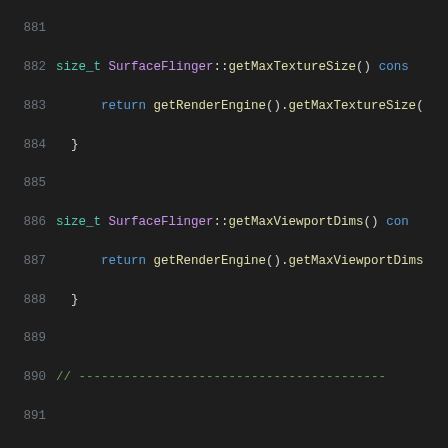[Figure (screenshot): Source code viewer showing C++ code for SurfaceFlinger class methods, lines 881-902, with syntax highlighting on dark background]